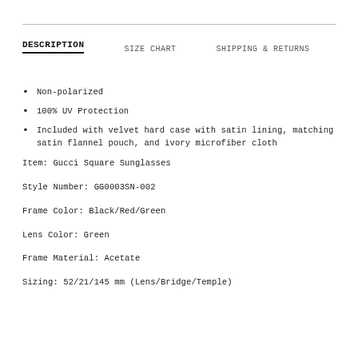DESCRIPTION
SIZE CHART
SHIPPING & RETURNS
Non-polarized
100% UV Protection
Included with velvet hard case with satin lining, matching satin flannel pouch, and ivory microfiber cloth
Item: Gucci Square Sunglasses
Style Number: GG0003SN-002
Frame Color: Black/Red/Green
Lens Color: Green
Frame Material: Acetate
Sizing: 52/21/145 mm (Lens/Bridge/Temple)